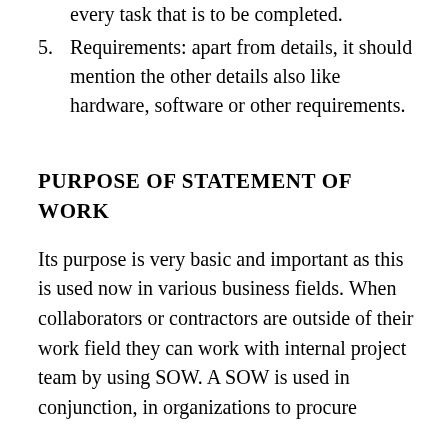every task that is to be completed.
5. Requirements: apart from details, it should mention the other details also like hardware, software or other requirements.
PURPOSE OF STATEMENT OF WORK
Its purpose is very basic and important as this is used now in various business fields. When collaborators or contractors are outside of their work field they can work with internal project team by using SOW. A SOW is used in conjunction, in organizations to procure